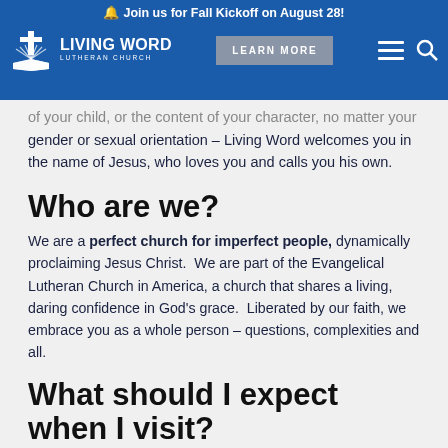Join us for Fall Kickoff on August 28! LIVING WORD LUTHERAN CHURCH LEARN MORE
...of your child, or the content of your character, no matter your gender or sexual orientation – Living Word welcomes you in the name of Jesus, who loves you and calls you his own.
Who are we?
We are a perfect church for imperfect people, dynamically proclaiming Jesus Christ.  We are part of the Evangelical Lutheran Church in America, a church that shares a living, daring confidence in God's grace.  Liberated by our faith, we embrace you as a whole person – questions, complexities and all.
What should I expect when I visit?